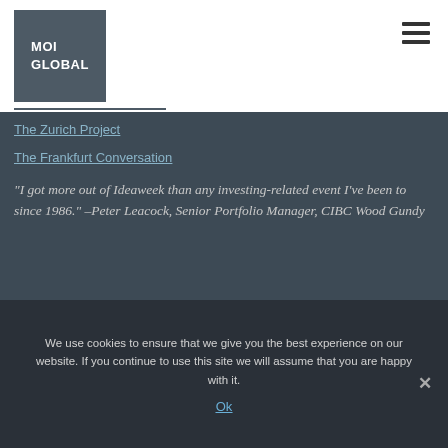[Figure (logo): MOI Global logo - dark gray square with white bold text reading MOI GLOBAL]
The Zurich Project
The Frankfurt Conversation
“I got more out of Ideaweek than any investing-related event I’ve been to since 1986.” – Peter Leacock, Senior Portfolio Manager, CIBC Wood Gundy
We use cookies to ensure that we give you the best experience on our website. If you continue to use this site we will assume that you are happy with it.
Ok